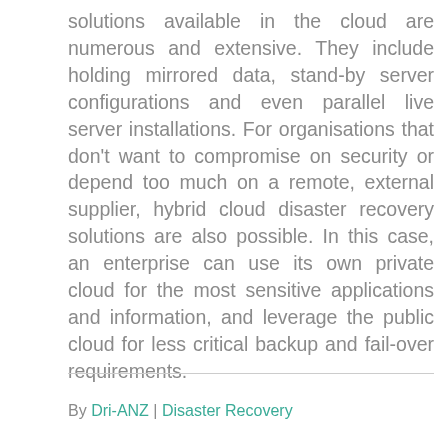solutions available in the cloud are numerous and extensive. They include holding mirrored data, stand-by server configurations and even parallel live server installations. For organisations that don't want to compromise on security or depend too much on a remote, external supplier, hybrid cloud disaster recovery solutions are also possible. In this case, an enterprise can use its own private cloud for the most sensitive applications and information, and leverage the public cloud for less critical backup and fail-over requirements.
By Dri-ANZ | Disaster Recovery